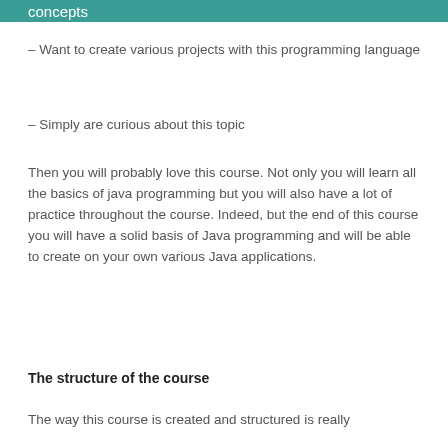concepts
– Want to create various projects with this programming language
– Simply are curious about this topic
Then you will probably love this course. Not only you will learn all the basics of java programming but you will also have a lot of practice throughout the course. Indeed, but the end of this course you will have a solid basis of Java programming and will be able to create on your own various Java applications.
The structure of the course
The way this course is created and structured is really